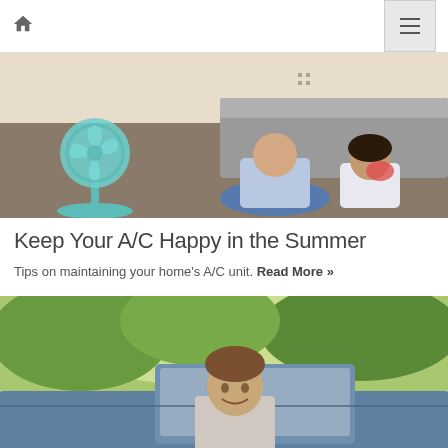Home icon and hamburger menu
[Figure (photo): Two girls sitting on a carpet in front of a sofa, one with a fan nearby, another eating watermelon. Summer indoor scene with a teal electric fan.]
Keep Your A/C Happy in the Summer
Tips on maintaining your home's A/C unit. Read More »
[Figure (photo): A young man leaning out of a car window with trees in the background.]